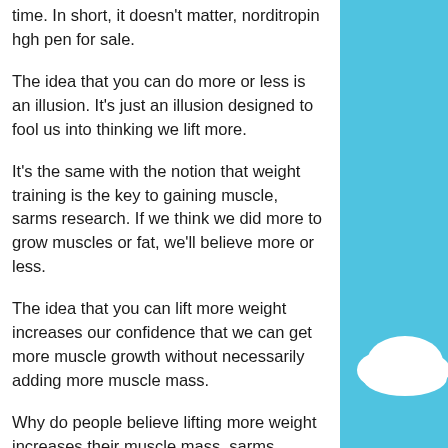time. In short, it doesn't matter, norditropin hgh pen for sale.
The idea that you can do more or less is an illusion. It's just an illusion designed to fool us into thinking we lift more.
It's the same with the notion that weight training is the key to gaining muscle, sarms research. If we think we did more to grow muscles or fat, we'll believe more or less.
The idea that you can lift more weight increases our confidence that we can get more muscle growth without necessarily adding more muscle mass.
Why do people believe lifting more weight increases their muscle mass, sarms research? Because it makes us happy and it makes us feel superior.